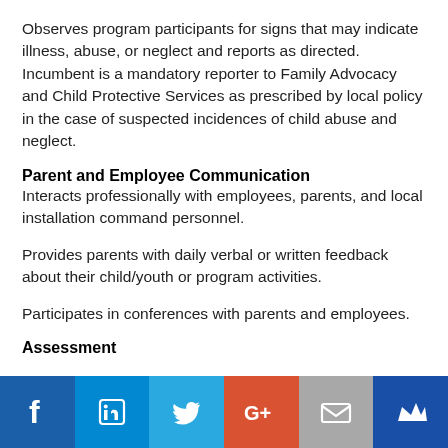Observes program participants for signs that may indicate illness, abuse, or neglect and reports as directed. Incumbent is a mandatory reporter to Family Advocacy and Child Protective Services as prescribed by local policy in the case of suspected incidences of child abuse and neglect.
Parent and Employee Communication
Interacts professionally with employees, parents, and local installation command personnel.
Provides parents with daily verbal or written feedback about their child/youth or program activities.
Participates in conferences with parents and employees.
Assessment
[Figure (infographic): Social media sharing footer bar with icons: Facebook (blue), LinkedIn (light blue), Twitter (sky blue), Google+ (red-orange), Email/envelope (gray), Crown/bookmark (dark blue)]